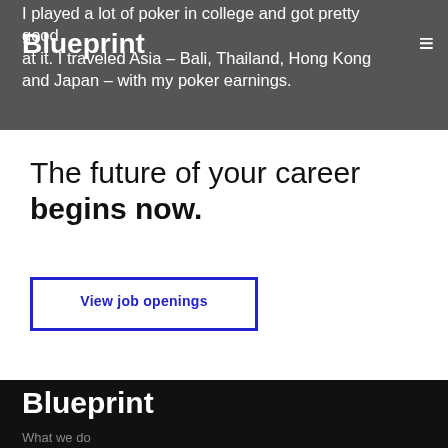Blueprint
I played a lot of poker in college and got pretty good at it. I traveled Asia – Bali, Thailand, Hong Kong and Japan – with my poker earnings.
The future of your career begins now.
View job openings
Blueprint
What we do